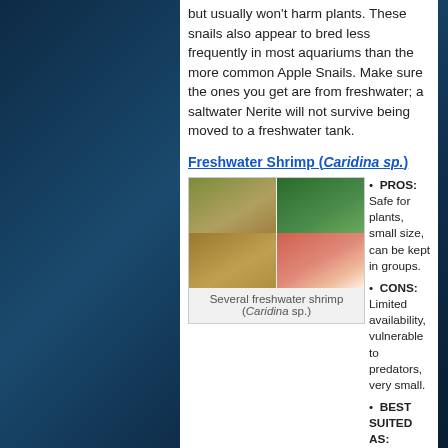but usually won't harm plants. These snails also appear to bred less frequently in most aquariums than the more common Apple Snails. Make sure the ones you get are from freshwater; a saltwater Nerite will not survive being moved to a freshwater tank.
Freshwater Shrimp (Caridina sp.)
[Figure (photo): Photo grid of four freshwater shrimp (Caridina sp.) in various aquarium settings]
Several freshwater shrimp (Caridina sp.)
PROS: Safe for plants, small size, can be kept in groups.
CONS: Limited availability, vulnerable to predators, very small.
BEST SUITED AS:
Algae-eaters for planted nano tanks with